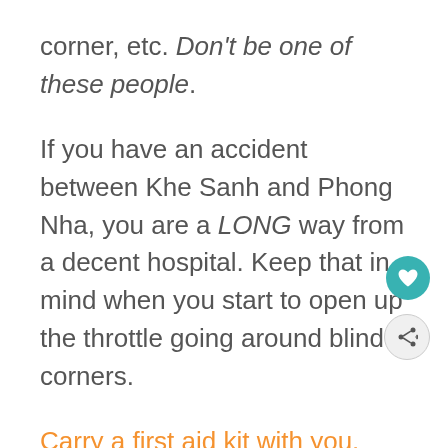corner, etc. Don't be one of these people.
If you have an accident between Khe Sanh and Phong Nha, you are a LONG way from a decent hospital. Keep that in mind when you start to open up the throttle going around blind corners.
Carry a first aid kit with you. And DON'T wear flip flops, shorts and a singlet, no matter how hot it is or how cool you think you look. You'll regret it if the front wheel locks up and you get thrown at 60km/h.